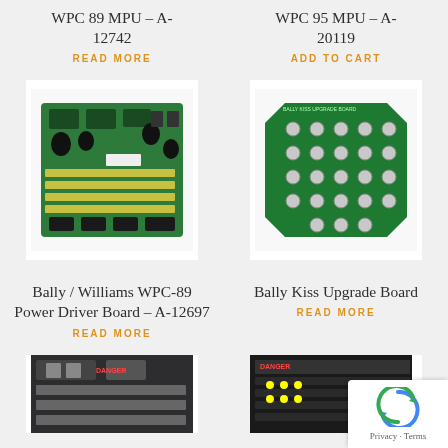WPC 89 MPU – A-12742
READ MORE
WPC 95 MPU – A-20119
ADD TO CART
[Figure (photo): Green PCB circuit board - Bally/Williams WPC-89 Power Driver Board]
[Figure (photo): Green PCB board with circular holes - Bally Kiss Upgrade Board]
Bally / Williams WPC-89 Power Driver Board – A-12697
READ MORE
Bally Kiss Upgrade Board
READ MORE
[Figure (photo): Partial view of a circuit board at bottom left]
[Figure (photo): Partial view of a dark circuit board with DANGER label at bottom right]